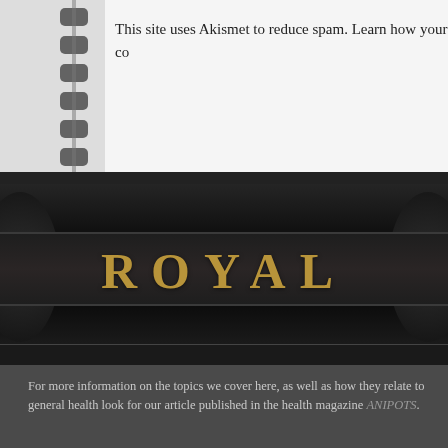This site uses Akismet to reduce spam. Learn how your co
[Figure (photo): Close-up of a Royal typewriter with the brand name ROYAL visible in gold/amber lettering on a dark background, with spiral notebook binding visible on the left edge]
For more information on the topics we cover here, as well as how they relate to general health look for our article published in the health magazine ANIPOTS.
Subscribe to
Enter your em receive notific
Join 701 other
Email Address
Subscri
WordPress the